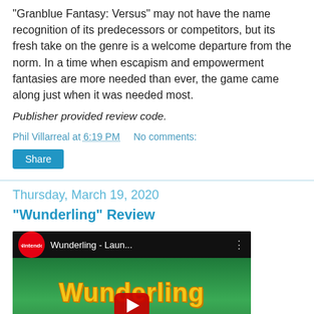"Granblue Fantasy: Versus" may not have the name recognition of its predecessors or competitors, but its fresh take on the genre is a welcome departure from the norm. In a time when escapism and empowerment fantasies are more needed than ever, the game came along just when it was needed most.
Publisher provided review code.
Phil Villarreal at 6:19 PM    No comments:
Share
Thursday, March 19, 2020
"Wunderling" Review
[Figure (screenshot): YouTube video thumbnail for 'Wunderling - Laun...' from Nintendo channel, showing colorful game title 'Wunderling' in yellow stylized text on a green background with game characters.]